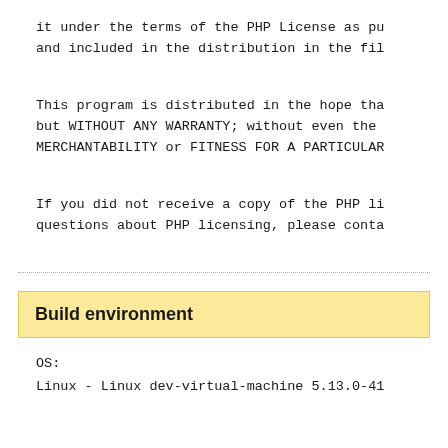it under the terms of the PHP License as pu
and included in the distribution in the fi
This program is distributed in the hope tha
but WITHOUT ANY WARRANTY; without even the
MERCHANTABILITY or FITNESS FOR A PARTICULAR
If you did not receive a copy of the PHP li
questions about PHP licensing, please conta
Build environment
OS:
Linux - Linux dev-virtual-machine 5.13.0-41